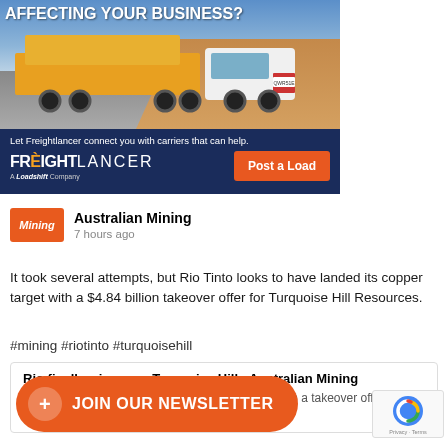[Figure (illustration): Freightlancer advertisement banner showing a large truck hauling heavy equipment on an Australian outback road. Text reads 'AFFECTING YOUR BUSINESS? Let Freightlancer connect you with carriers that can help.' with Freightlancer logo (A Loadshift Company) and an orange 'Post a Load' button.]
Australian Mining
7 hours ago
It took several attempts, but Rio Tinto looks to have landed its copper target with a $4.84 billion takeover offer for Turquoise Hill Resources.
#mining #riotinto #turquoisehill
Rio finally wins over Turquoise Hill - Australian Mining
Rio Tinto looks to have landed its copper target with a takeover offer for Turquoise Hill